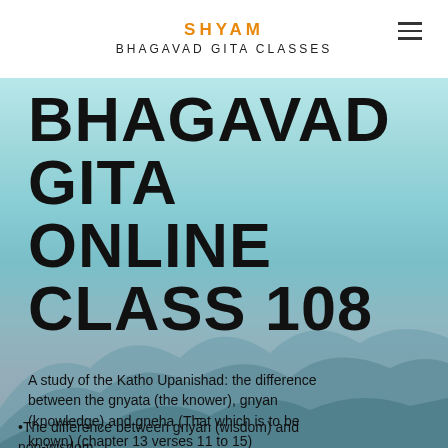SHYAM BHAGAVAD GITA CLASSES
BHAGAVAD GITA ONLINE CLASS 108
A study of the Katho Upanishad: the difference between the gnyata (the knower), gnyan (knowledge) and gneha (That which is to be known) (chapter 13 verses 11 to 15)
The difference between gnyān (wisdom) and non-wisdom.